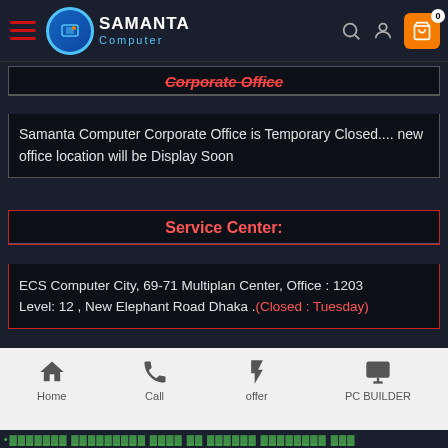Samanta Computer — navigation bar
Corporate Office
Samanta Computer Corporate Office is Temporary Closed.... new office location will be Display Soon
Service Center:
ECS Computer City, 69-71 Multiplan Center, Office : 1203 Level: 12 , New Elephant Road Dhaka .(Closed : Tuesday)
Contact US 24 / 7
Home | Call | offer | PC BUILDER